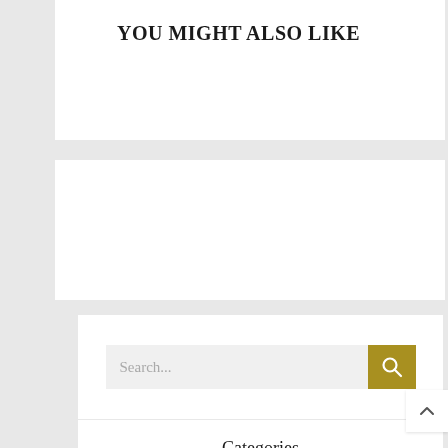YOU MIGHT ALSO LIKE
[Figure (screenshot): Search bar with a gold/olive colored search button containing a magnifying glass icon, and placeholder text 'Search...']
Categories
Advertising & Marketing
Arts & Entertainment
Auto & Motor